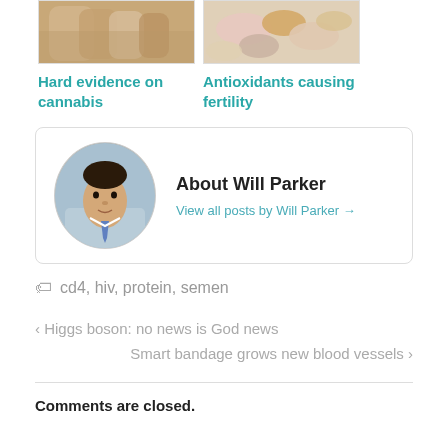[Figure (photo): Thumbnail image of hands, related to cannabis article]
Hard evidence on cannabis
[Figure (photo): Thumbnail image of pills and supplements, related to antioxidants article]
Antioxidants causing fertility
[Figure (photo): Circular avatar photo of Will Parker, a man in a suit]
About Will Parker
View all posts by Will Parker →
cd4, hiv, protein, semen
‹ Higgs boson: no news is God news
Smart bandage grows new blood vessels ›
Comments are closed.